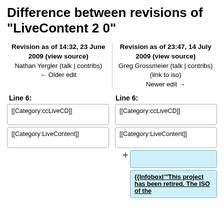Difference between revisions of "LiveContent 2 0"
Revision as of 14:32, 23 June 2009 (view source)
Nathan Yergler (talk | contribs)
← Older edit
Revision as of 23:47, 14 July 2009 (view source)
Greg Grossmeier (talk | contribs)
(link to iso)
Newer edit →
Line 6:
Line 6:
[[Category:ccLiveCD]]
[[Category:ccLiveCD]]
[[Category:LiveContent]]
[[Category:LiveContent]]
{{Infobox|'''This project has been retired. The ISO of the...
+